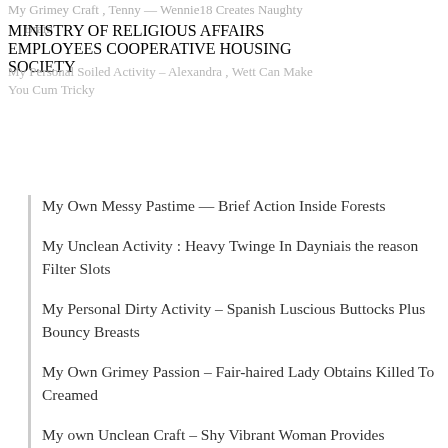My Grimey Craft , Tenny — Wennie18 Creates Naughty Brain
MINISTRY OF RELIGIOUS AFFAIRS EMPLOYEES COOPERATIVE HOUSING SOCIETY
My Personal Soiled Activity – Alexandra , Wett Can Make You Cum Tricky
My Own Messy Pastime — Brief Action Inside Forests
My Unclean Activity : Heavy Twinge In Dayniais the reason Filter Slots
My Personal Dirty Activity – Spanish Luscious Buttocks Plus Bouncy Breasts
My Own Grimey Passion – Fair-haired Lady Obtains Killed To Creamed
My own Unclean Craft – Shy Vibrant Woman Provides Significant Cock!
Our Grimey Passion : Fascinating Wide Tits Brunet